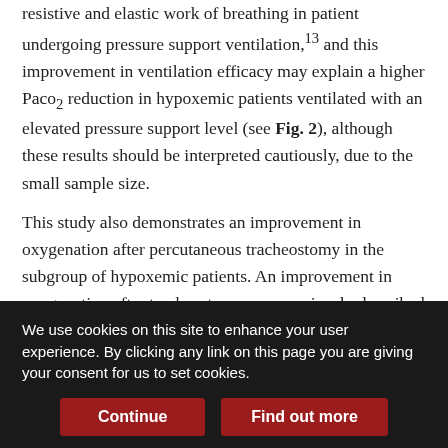resistive and elastic work of breathing in patient undergoing pressure support ventilation,13 and this improvement in ventilation efficacy may explain a higher Paco2 reduction in hypoxemic patients ventilated with an elevated pressure support level (see Fig. 2), although these results should be interpreted cautiously, due to the small sample size.
This study also demonstrates an improvement in oxygenation after percutaneous tracheostomy in the subgroup of hypoxemic patients. An improvement in oxygenation after tracheostomy was previously described in 3 recent studies. In the first one, feasibility of bronchoscopically guided percutaneous tracheostomy was evaluated in patients ventilated with severe respiratory failure, ventilated with a PEEP > 10 cm H2O (n = 88), in comparison to those ventilated with a
We use cookies on this site to enhance your user experience. By clicking any link on this page you are giving your consent for us to set cookies.